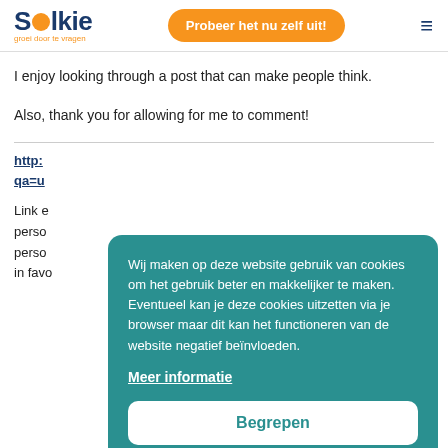Solkie — groei door te vragen | Probeer het nu zelf uit!
I enjoy looking through a post that can make people think.
Also, thank you for allowing for me to comment!
http: ... qa=u...
Link e... r perso... perso... in favo...
[Figure (other): Cookie consent overlay dialog with teal background. Text: 'Wij maken op deze website gebruik van cookies om het gebruik beter en makkelijker te maken. Eventueel kan je deze cookies uitzetten via je browser maar dit kan het functioneren van de website negatief beïnvloeden.' Link: 'Meer informatie'. Button: 'Begrepen']